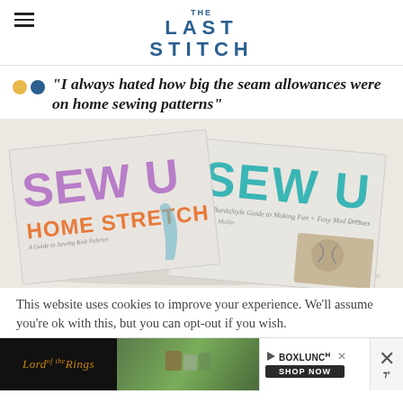THE LAST STITCH
"I always hated how big the seam allowances were on home sewing patterns"
[Figure (photo): Two 'Sew U' books - 'Sew U Home Stretch' in purple/teal text and 'Sew U' book with sewing notions, on beige background]
This website uses cookies to improve your experience. We'll assume you're ok with this, but you can opt-out if you wish.
[Figure (other): Advertisement banner: Lord of the Rings on left with dark background in orange italic text, green product image in center, BoxLunch logo and SHOP NOW button on right, with X close button]